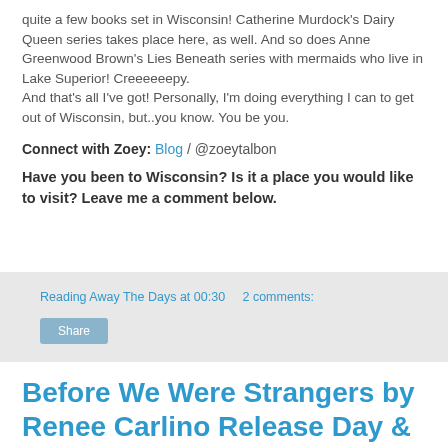quite a few books set in Wisconsin! Catherine Murdock's Dairy Queen series takes place here, as well. And so does Anne Greenwood Brown's Lies Beneath series with mermaids who live in Lake Superior! Creeeeeepy.
And that's all I've got! Personally, I'm doing everything I can to get out of Wisconsin, but..you know. You be you.
Connect with Zoey: Blog / @zoeytalbon
Have you been to Wisconsin? Is it a place you would like to visit? Leave me a comment below.
Reading Away The Days at 00:30   2 comments:
Share
Before We Were Strangers by Renee Carlino Release Day & #Giveaway